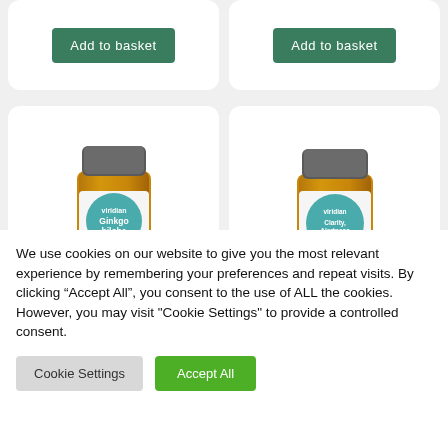[Figure (screenshot): Two product cards at top each showing an 'Add to basket' green button]
[Figure (photo): Two Viridian supplement bottles (Ginkgo Biloba left, another formula right) with white capsules/tablets scattered in front]
We use cookies on our website to give you the most relevant experience by remembering your preferences and repeat visits. By clicking “Accept All”, you consent to the use of ALL the cookies. However, you may visit "Cookie Settings" to provide a controlled consent.
Cookie Settings
Accept All